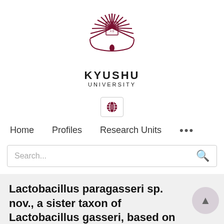[Figure (logo): Kyushu University sunburst logo in dark red/maroon]
KYUSHU UNIVERSITY
[Figure (other): Globe icon button for language selection]
Home   Profiles   Research Units   ...
Search...
Lactobacillus paragasseri sp. nov., a sister taxon of Lactobacillus gasseri, based on whole-genome sequence analyses